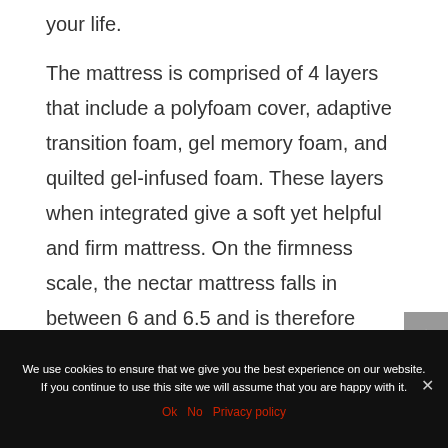your life.
The mattress is comprised of 4 layers that include a polyfoam cover, adaptive transition foam, gel memory foam, and quilted gel-infused foam. These layers when integrated give a soft yet helpful and firm mattress. On the firmness scale, the nectar mattress falls in between 6 and 6.5 and is therefore categorized as a medium-firm mattress.
We use cookies to ensure that we give you the best experience on our website. If you continue to use this site we will assume that you are happy with it.
Ok   No   Privacy policy